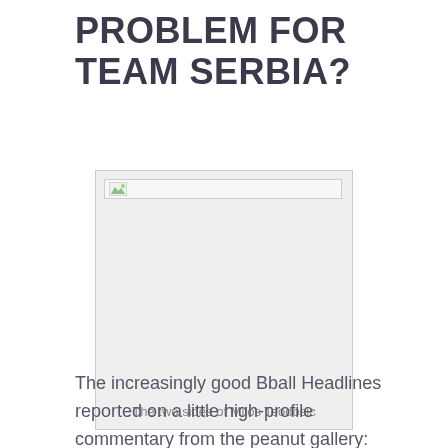PROBLEM FOR TEAM SERBIA?
[Figure (photo): Broken/unloaded image placeholder with caption 'The two sides of Milos Teodosic']
The two sides of Milos Teodosic
The increasingly good Bball Headlines reported on a little high-profile commentary from the peanut gallery: